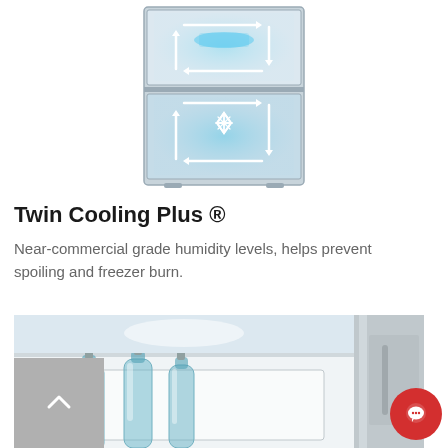[Figure (illustration): Diagram of a refrigerator cross-section showing Twin Cooling Plus airflow system with arrows indicating air circulation paths in both the refrigerator and freezer compartments, blue/teal glowing lights, and a snowflake symbol in the lower compartment.]
Twin Cooling Plus ®
Near-commercial grade humidity levels, helps prevent spoiling and freezer burn.
[Figure (photo): Photo of the interior of a refrigerator showing glass bottles of water/beverages on a shelf/drawer with stainless steel door visible on the right.]